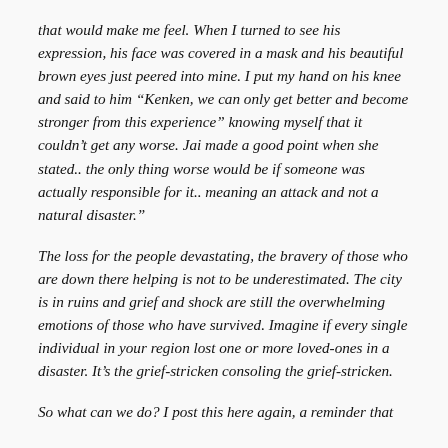that would make me feel. When I turned to see his expression, his face was covered in a mask and his beautiful brown eyes just peered into mine. I put my hand on his knee and said to him “Kenken, we can only get better and become stronger from this experience” knowing myself that it couldn’t get any worse. Jai made a good point when she stated.. the only thing worse would be if someone was actually responsible for it.. meaning an attack and not a natural disaster."
The loss for the people devastating, the bravery of those who are down there helping is not to be underestimated. The city is in ruins and grief and shock are still the overwhelming emotions of those who have survived. Imagine if every single individual in your region lost one or more loved-ones in a disaster. It’s the grief-stricken consoling the grief-stricken.
So what can we do? I post this here again, a reminder that